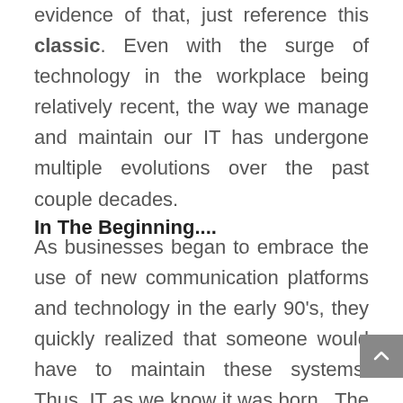evidence of that, just reference this classic. Even with the surge of technology in the workplace being relatively recent, the way we manage and maintain our IT has undergone multiple evolutions over the past couple decades.
In The Beginning....
As businesses began to embrace the use of new communication platforms and technology in the early 90's, they quickly realized that someone would have to maintain these systems. Thus, IT as we know it was born.  The typical model for IT during this period was known as the